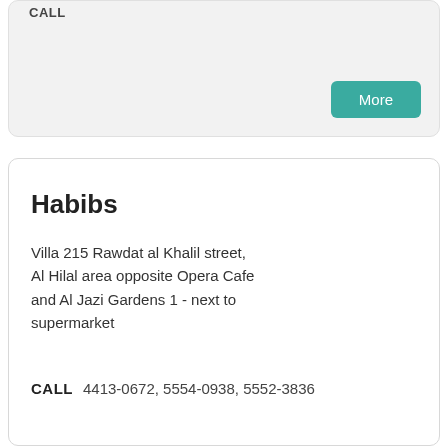CALL
More
Habibs
Villa 215 Rawdat al Khalil street, Al Hilal area opposite Opera Cafe and Al Jazi Gardens 1 - next to supermarket
CALL  4413-0672, 5554-0938, 5552-3836